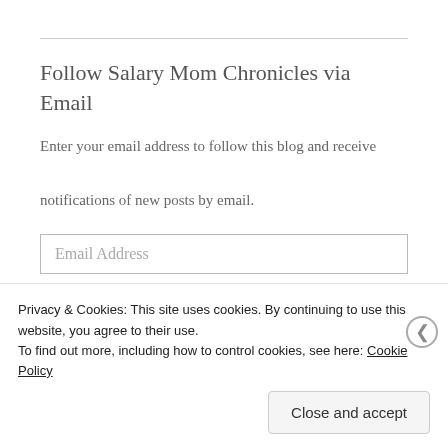Follow Salary Mom Chronicles via Email
Enter your email address to follow this blog and receive notifications of new posts by email.
Email Address
Follow
Privacy & Cookies: This site uses cookies. By continuing to use this website, you agree to their use. To find out more, including how to control cookies, see here: Cookie Policy
Close and accept